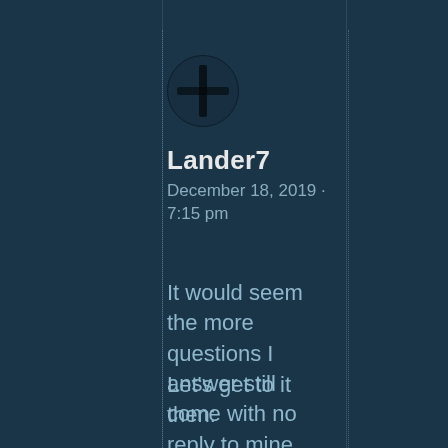[Figure (illustration): Circular avatar icon showing an orange/brown sphere with a dark cross or visor mark, resembling a helmet or planet]
Lander7
December 18, 2019 · 7:15 pm
It would seem the more questions I answer still come with no reply to mine.. sigh
Let's get to it then: